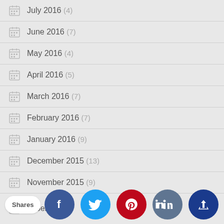July 2016 (4)
June 2016 (7)
May 2016 (4)
April 2016 (5)
March 2016 (7)
February 2016 (7)
January 2016 (9)
December 2015 (13)
November 2015 (9)
October 2015 (...)